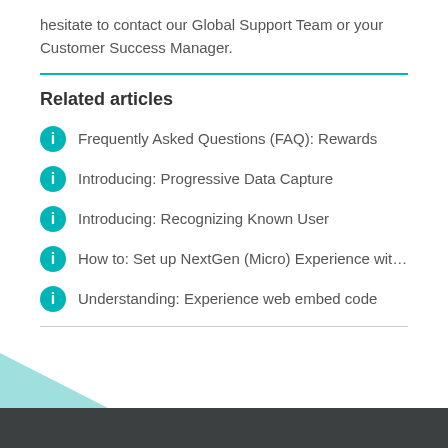hesitate to contact our Global Support Team or your Customer Success Manager.
Related articles
Frequently Asked Questions (FAQ): Rewards
Introducing: Progressive Data Capture
Introducing: Recognizing Known User
How to: Set up NextGen (Micro) Experience wit…
Understanding: Experience web embed code